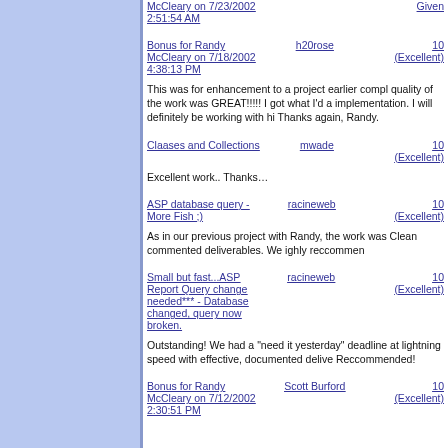Bonus for Randy McCleary on 7/23/2002 2:51:54 AM | Given
Bonus for Randy McCleary on 7/18/2002 4:38:13 PM | h20rose | 10 (Excellent)
This was for enhancement to a project earlier compl quality of the work was GREAT!!!!! I got what I'd a implementation. I will definitely be working with hi Thanks again, Randy.
Claases and Collections | mwade | 10 (Excellent)
Excellent work.. Thanks…
ASP database query - More Fish ;) | racineweb | 10 (Excellent)
As in our previous project with Randy, the work was Clean commented deliverables. We ighly reccommen
Small but fast...ASP Report Query change needed*** - Database changed, query now broken. | racineweb | 10 (Excellent)
Outstanding! We had a "need it yesterday" deadline at lightning speed with effective, documented delive Reccommended!
Bonus for Randy McCleary on 7/12/2002 2:30:51 PM | Scott Burford | 10 (Excellent)